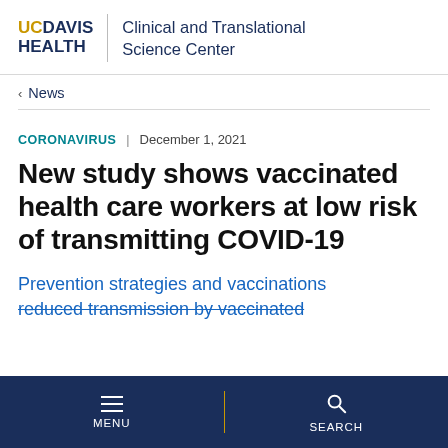UC DAVIS HEALTH | Clinical and Translational Science Center
< News
CORONAVIRUS | December 1, 2021
New study shows vaccinated health care workers at low risk of transmitting COVID-19
Prevention strategies and vaccinations reduced transmission by vaccinated
MENU | SEARCH